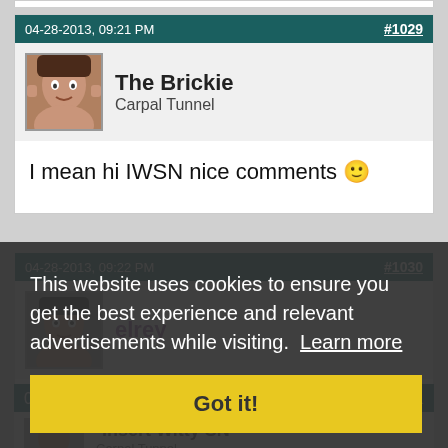04-28-2013, 09:21 PM  #1029
The Brickie
Carpal Tunnel
I mean hi IWSN nice comments 🙂
04-28-2013, 09:22 PM  #1030
elrey
i love you paul 💜
This website uses cookies to ensure you get the best experience and relevant advertisements while visiting.  Learn more
Got it!
04-28-2013, 09:23 PM  #1031
-Insert Witty SN-
Carpal Tunnel